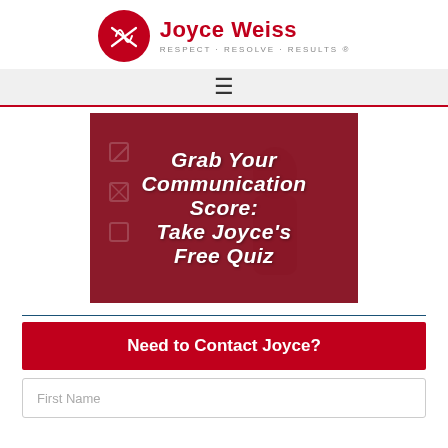Joyce Weiss — RESPECT · RESOLVE · RESULTS ®
[Figure (logo): Joyce Weiss logo with red circle monogram and site name]
[Figure (screenshot): Navigation bar with hamburger menu icon]
[Figure (photo): Promotional image with dark red background and person, text reads: Grab Your Communication Score: Take Joyce's Free Quiz]
Grab Your Communication Score: Take Joyce's Free Quiz
Need to Contact Joyce?
First Name